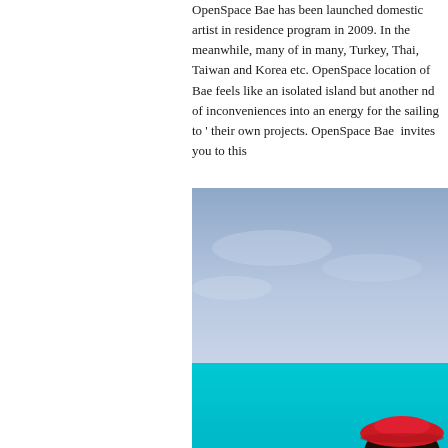OpenSpace Bae has been launched domestic artist in residence program in 2009. In the meanwhile, many of in many, Turkey, Thai, Taiwan and Korea etc. OpenSpace location of Bae feels like an isolated island but another nd of inconveniences into an energy for the sailing to their own projects. OpenSpace Bae  invites you to this
[Figure (photo): Outdoor photo with a blue sky in the upper portion and a bright turquoise/cyan background in the lower portion. A person wearing a red hat is partially visible at the bottom right corner of the image.]